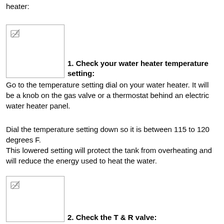heater:
[Figure (photo): Image placeholder for water heater temperature setting dial]
1. Check your water heater temperature setting:
Go to the temperature setting dial on your water heater. It will be a knob on the gas valve or a thermostat behind an electric water heater panel.
Dial the temperature setting down so it is between 115 to 120 degrees F.
This lowered setting will protect the tank from overheating and will reduce the energy used to heat the water.
[Figure (photo): Image placeholder for T & R valve]
2. Check the T & R valve: